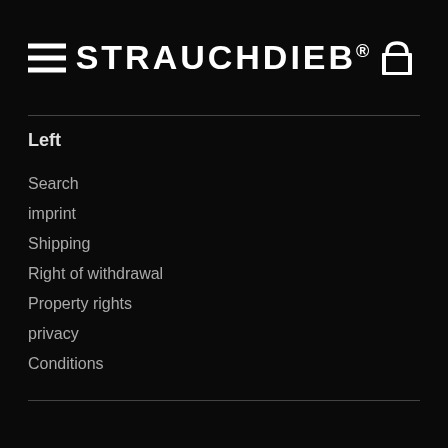STRAUCHDIEB®
Left
Search
imprint
Shipping
Right of withdrawal
Property rights
privacy
Conditions